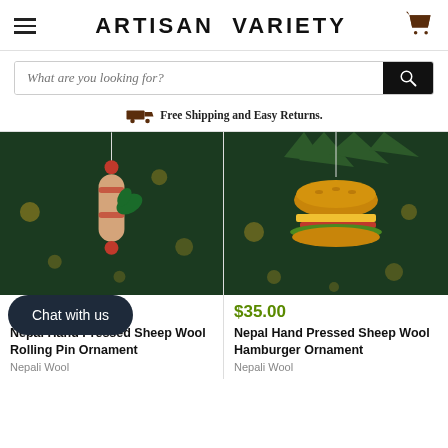ARTISAN VARIETY
What are you looking for?
Free Shipping and Easy Returns.
[Figure (photo): Felt rolling pin Christmas ornament hanging on a tree with bokeh lights in background]
$35.00
Nepal Hand Pressed Sheep Wool Rolling Pin Ornament
Nepali Wool
[Figure (photo): Felt hamburger Christmas ornament hanging on a tree with bokeh lights in background]
$35.00
Nepal Hand Pressed Sheep Wool Hamburger Ornament
Nepali Wool
Chat with us